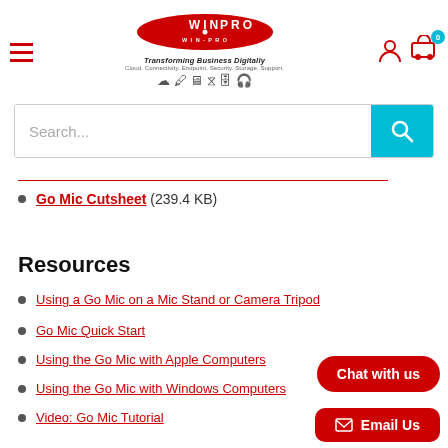[Figure (logo): WIN PRO logo - red oval with white text 'WIN PRO', tagline 'Transforming Business Digitally', subtitle 'Cloud. Connectivity. Endpoint. Security. Storage. Support.' with icons]
(partially visible red underlined link) (239.4 KB)
Go Mic Cutsheet (239.4 KB)
Resources
Using a Go Mic on a Mic Stand or Camera Tripod
Go Mic Quick Start
Using the Go Mic with Apple Computers
Using the Go Mic with Windows Computers
Video: Go Mic Tutorial